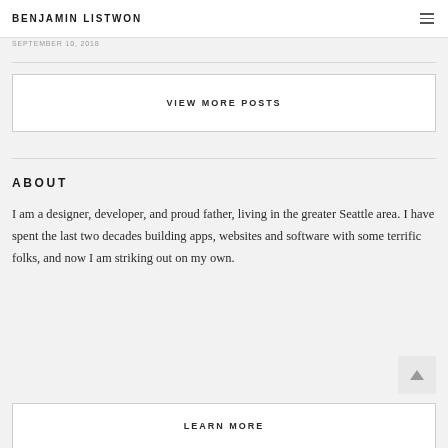BENJAMIN LISTWON
SEPTEMBER 10, 2018
VIEW MORE POSTS
ABOUT
I am a designer, developer, and proud father, living in the greater Seattle area. I have spent the last two decades building apps, websites and software with some terrific folks, and now I am striking out on my own.
LEARN MORE